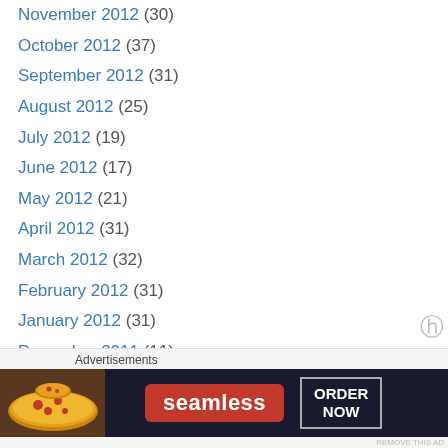November 2012 (30)
October 2012 (37)
September 2012 (31)
August 2012 (25)
July 2012 (19)
June 2012 (17)
May 2012 (21)
April 2012 (31)
March 2012 (32)
February 2012 (31)
January 2012 (31)
December 2011 (11)
November 2011 (1)
October 2011 (22)
September 2011 (25)
August 2011 (32)
Advertisements
[Figure (photo): Seamless food delivery advertisement banner showing pizza image on left, Seamless red logo in center, and ORDER NOW button on right, on dark background]